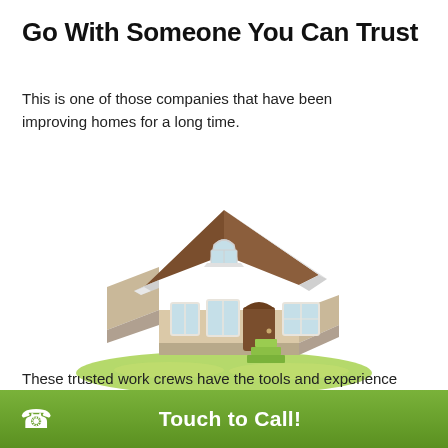Go With Someone You Can Trust
This is one of those companies that have been improving homes for a long time.
[Figure (illustration): 3D isometric illustration of a house with brown roof, beige walls, blue windows, brown door, green steps, and green lawn base]
These trusted work crews have the tools and experience
Touch to Call!